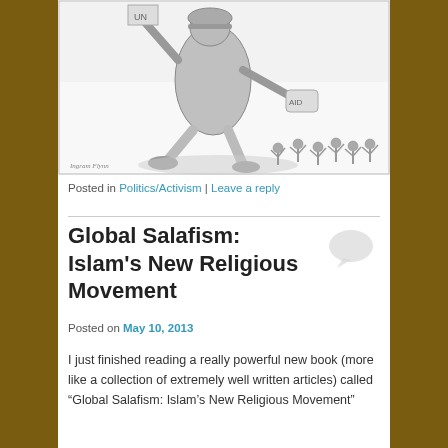[Figure (illustration): A political cartoon in black and white pencil style showing a large armored soldier/figure striding forward holding a flag and an 'AID' bag, while smaller celebrating figures are shown below.]
Posted in Politics/Activism | Leave a reply
Global Salafism: Islam's New Religious Movement
Posted on May 10, 2013
I just finished reading a really powerful new book (more like a collection of extremely well written articles) called “Global Salafism: Islam’s New Religious Movement”